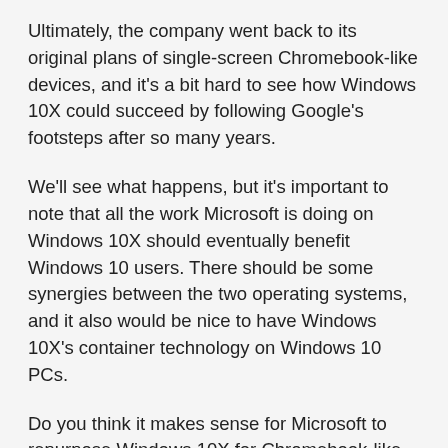Ultimately, the company went back to its original plans of single-screen Chromebook-like devices, and it's a bit hard to see how Windows 10X could succeed by following Google's footsteps after so many years.
We'll see what happens, but it's important to note that all the work Microsoft is doing on Windows 10X should eventually benefit Windows 10 users. There should be some synergies between the two operating systems, and it also would be nice to have Windows 10X's container technology on Windows 10 PCs.
Do you think it makes sense for Microsoft to repurpose Windows 10X for Chromebook-like